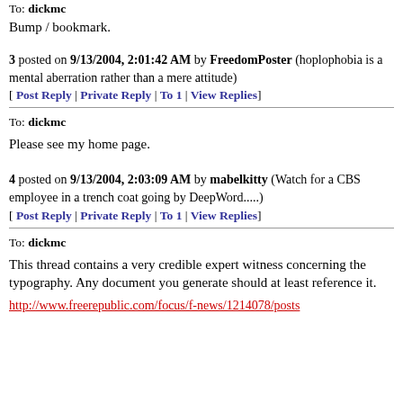To: dickmc
Bump / bookmark.
3 posted on 9/13/2004, 2:01:42 AM by FreedomPoster (hoplophobia is a mental aberration rather than a mere attitude)
[ Post Reply | Private Reply | To 1 | View Replies]
To: dickmc
Please see my home page.
4 posted on 9/13/2004, 2:03:09 AM by mabelkitty (Watch for a CBS employee in a trench coat going by DeepWord.....)
[ Post Reply | Private Reply | To 1 | View Replies]
To: dickmc
This thread contains a very credible expert witness concerning the typography. Any document you generate should at least reference it.
http://www.freerepublic.com/focus/f-news/1214078/posts